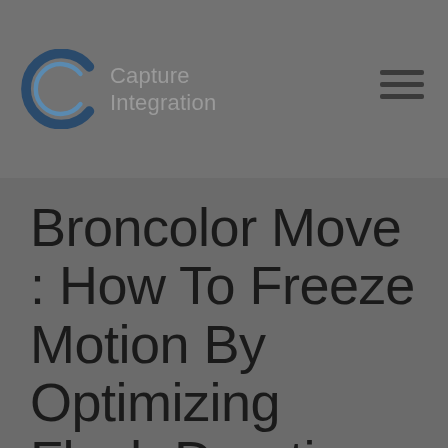Capture Integration
Broncolor Move : How To Freeze Motion By Optimizing Flash Duration
By Bianca Ranciato · Posted June 22, 2022·